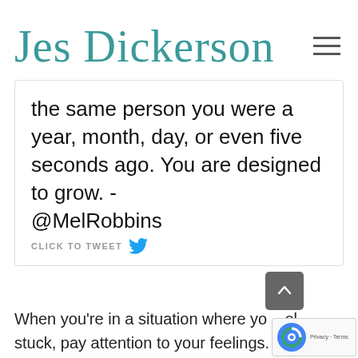Jes Dickerson
the same person you were a year, month, day, or even five seconds ago. You are designed to grow. - @MelRobbins  CLICK TO TWEET
When you're in a situation where you feel stuck, pay attention to your feelings. Notice